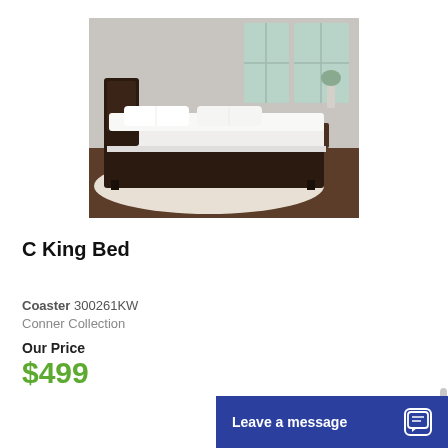[Figure (photo): Product photo of a dark brown California King bed frame with upholstered headboard, white bedding and pillows, on a cream shag rug in a modern bedroom setting.]
C King Bed
Coaster 300261KW
Conner Collection
Our Price
$499
Leave a message